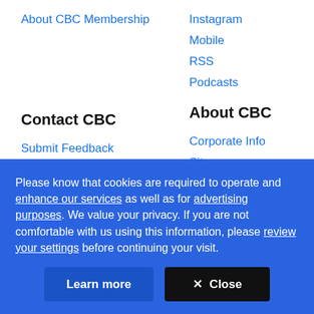About CBC Membership
Instagram
Mobile
RSS
Podcasts
Contact CBC
About CBC
Submit Feedback
Corporate Info
Help Centre
Sitemap
Audience Relations, CBC
Reuse & Permission
Please know that cookies are required to operate and enhance our services as well as for advertising purposes. We value your privacy. If you are not comfortable with us using this information, please review your settings before continuing your visit.